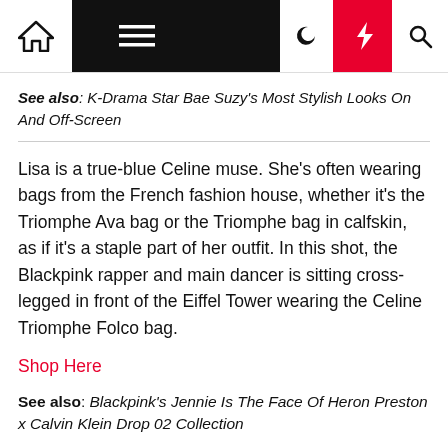Navigation bar with home, menu, moon, lightning, and search icons
See also: K-Drama Star Bae Suzy's Most Stylish Looks On And Off-Screen
Lisa is a true-blue Celine muse. She's often wearing bags from the French fashion house, whether it's the Triomphe Ava bag or the Triomphe bag in calfskin, as if it's a staple part of her outfit. In this shot, the Blackpink rapper and main dancer is sitting cross-legged in front of the Eiffel Tower wearing the Celine Triomphe Folco bag.
Shop Here
See also: Blackpink's Jennie Is The Face Of Heron Preston x Calvin Klein Drop 02 Collection
Krystal Jung from former K-pop girl group, f(x) is a stylish star in her own right. With acting, singing and dancing, she has established herself in the fashion world.